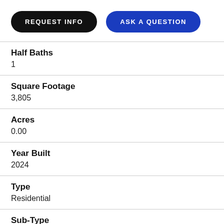[Figure (other): Two buttons: 'REQUEST INFO' (black pill) and 'ASK A QUESTION' (blue pill)]
Half Baths
1
Square Footage
3,805
Acres
0.00
Year Built
2024
Type
Residential
Sub-Type